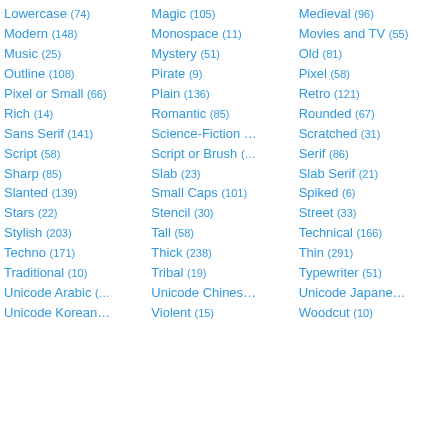Lowercase (74)
Modern (148)
Music (25)
Outline (108)
Pixel or Small (66)
Rich (14)
Sans Serif (141)
Script (58)
Sharp (85)
Slanted (139)
Stars (22)
Stylish (203)
Techno (171)
Traditional (10)
Unicode Arabic (…
Unicode Korean…
Magic (105)
Monospace (11)
Mystery (51)
Pirate (9)
Plain (136)
Romantic (85)
Science-Fiction …
Script or Brush (…
Slab (23)
Slanted (139)
Small Caps (101)
Stencil (30)
Tall (58)
Thick (238)
Tribal (19)
Unicode Chines…
Violent (15)
Medieval (96)
Movies and TV (55)
Old (81)
Pixel (58)
Retro (121)
Rounded (67)
Scratched (31)
Serif (86)
Slab Serif (21)
Spiked (6)
Street (33)
Technical (166)
Thin (291)
Typewriter (51)
Unicode Japane…
Woodcut (10)